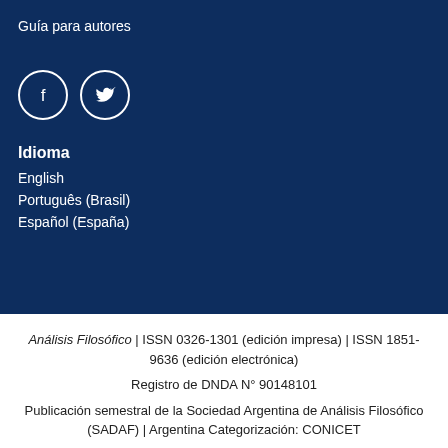Guía para autores
[Figure (illustration): Facebook and Twitter social media icons as white outlined circles on dark blue background]
Idioma
English
Português (Brasil)
Español (España)
Análisis Filosófico | ISSN 0326-1301 (edición impresa) | ISSN 1851-9636 (edición electrónica)
Registro de DNDA N° 90148101
Publicación semestral de la Sociedad Argentina de Análisis Filosófico (SADAF) | Argentina Categorización: CONICET